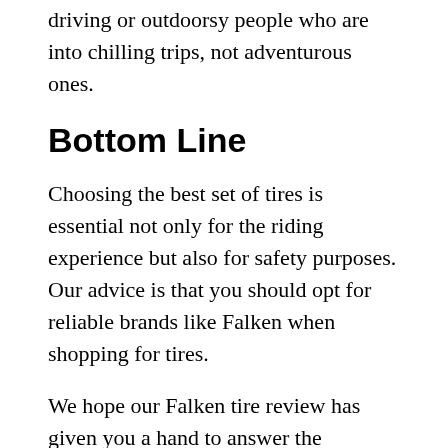All in all, Falken tires are perfect for daily driving or outdoorsy people who are into chilling trips, not adventurous ones.
Bottom Line
Choosing the best set of tires is essential not only for the riding experience but also for safety purposes. Our advice is that you should opt for reliable brands like Falken when shopping for tires.
We hope our Falken tire review has given you a hand to answer the question, “why should you buy a set of Falken tires?”. This